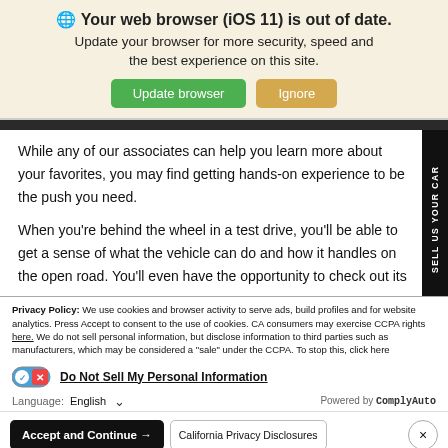🌐 Your web browser (iOS 11) is out of date. Update your browser for more security, speed and the best experience on this site.
Update browser | Ignore
While any of our associates can help you learn more about your favorites, you may find getting hands-on experience to be the push you need.

When you're behind the wheel in a test drive, you'll be able to get a sense of what the vehicle can do and how it handles on the open road. You'll even have the opportunity to check out its
SELL US YOUR CAR
Privacy Policy: We use cookies and browser activity to serve ads, build profiles and for website analytics. Press Accept to consent to the use of cookies. CA consumers may exercise CCPA rights here. We do not sell personal information, but disclose information to third parties such as manufacturers, which may be considered a "sale" under the CCPA. To stop this, click here
Do Not Sell My Personal Information
Language: English ∨
Powered by ComplyAuto
Accept and Continue → | California Privacy Disclosures | ×